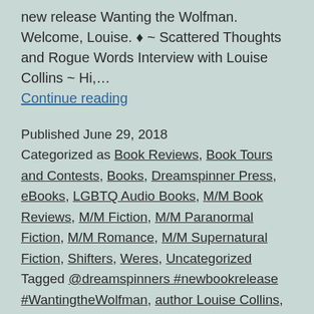new release Wanting the Wolfman. Welcome, Louise. ♦ ~ Scattered Thoughts and Rogue Words Interview with Louise Collins ~ Hi,… Continue reading
Published June 29, 2018 Categorized as Book Reviews, Book Tours and Contests, Books, Dreamspinner Press, eBooks, LGBTQ Audio Books, M/M Book Reviews, M/M Fiction, M/M Paranormal Fiction, M/M Romance, M/M Supernatural Fiction, Shifters, Weres, Uncategorized Tagged @dreamspinners #newbookrelease #WantingtheWolfman, author Louise Collins, Wanting the Wolfman by Louise Collins